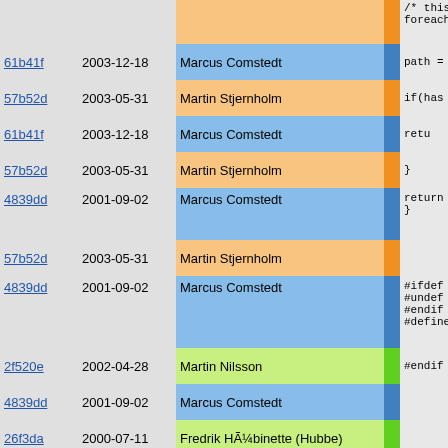| Hash | Date | Author | Bar | Code |
| --- | --- | --- | --- | --- |
|  |  |  |  | /* this
foreach( |
| 61b41f | 2003-12-18 | Marcus Comstedt |  | path = |
| 57b52d | 2003-05-31 | Martin Stjernholm |  | if(has |
| 61b41f | 2003-12-18 | Marcus Comstedt |  | retu |
| 57b52d | 2003-05-31 | Martin Stjernholm |  | } |
| 4839dd | 2001-09-02 | Marcus Comstedt |  | return s
} |
| 57b52d | 2003-05-31 | Martin Stjernholm |  |  |
| 4839dd | 2001-09-02 | Marcus Comstedt |  | #ifdef fak
#undef fak
#endif
#define fa |
| 2f520e | 2002-04-28 | Martin Nilsson |  | #endif // |
| 4839dd | 2001-09-02 | Marcus Comstedt |  |  |
| 26f3da | 2000-07-11 | Fredrik HÃ¼binette (Hubbe) |  |  |
| b07e96 | 2001-07-27 | Martin Nilsson |  | //! @appea |
| 8f4569 | 2001-01-14 | Henrik GrubbstrÃ¶m (Grubba) |  | //! Check
//!
//! @retur
//! Return |